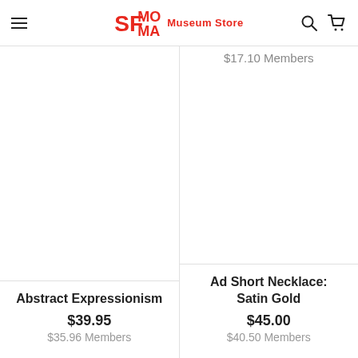SFMOMA Museum Store
$17.10 Members
[Figure (photo): Product image area for Abstract Expressionism (blank/white)]
Abstract Expressionism
$39.95
$35.96 Members
[Figure (photo): Product image area for Ad Short Necklace: Satin Gold (blank/white)]
Ad Short Necklace: Satin Gold
$45.00
$40.50 Members